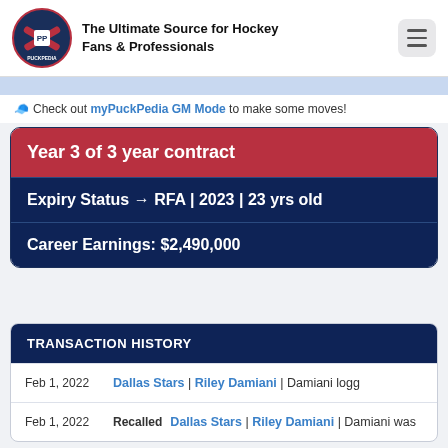The Ultimate Source for Hockey Fans & Professionals
Check out myPuckPedia GM Mode to make some moves!
Year 3 of 3 year contract
Expiry Status → RFA | 2023 | 23 yrs old
Career Earnings: $2,490,000
TRANSACTION HISTORY
Feb 1, 2022 | Dallas Stars | Riley Damiani | Damiani logg
Feb 1, 2022 | Recalled | Dallas Stars | Riley Damiani | Damiani was